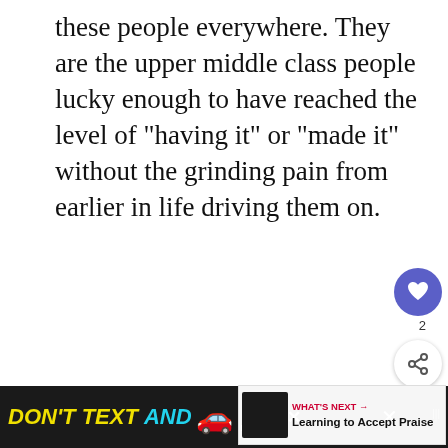these people everywhere. They are the upper middle class people lucky enough to have reached the level of "having it" or "made it" without the grinding pain from earlier in life driving them on.
Then there are the people we see in the news on a regular basis. These are the business leaders and entertainers who never are satisfied with their performance even when they have reached so high they have cut new ground. They climbed to the top of the mountain and started building the mountain higher. What drives these people? And are you one of them?
[Figure (screenshot): Ad banner at bottom: dark background with 'DON'T TEXT AND' in yellow/cyan bold italic text, car emoji, ad badge, NHTSA logo, close buttons]